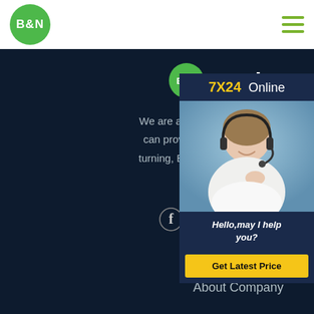B&N (logo) — hamburger menu
[Figure (logo): B&N Steel Factory logo and brand name on dark background]
We are a comprehensive machining serv... can provide a wide product range of cu... turning, Bevel, Bending, Drilling and othe... services.
[Figure (infographic): Social media icons: Facebook, Instagram, Twitter, Skype]
Links
About Company
[Figure (infographic): 7X24 Online chat widget with customer service representative photo, text 'Hello,may I help you?' and 'Get Latest Price' button]